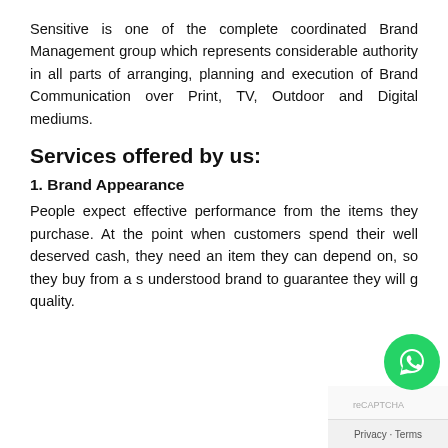Sensitive is one of the complete coordinated Brand Management group which represents considerable authority in all parts of arranging, planning and execution of Brand Communication over Print, TV, Outdoor and Digital mediums.
Services offered by us:
1. Brand Appearance
People expect effective performance from the items they purchase. At the point when customers spend their well deserved cash, they need an item they can depend on, so they buy from a well understood brand to guarantee they will get quality.